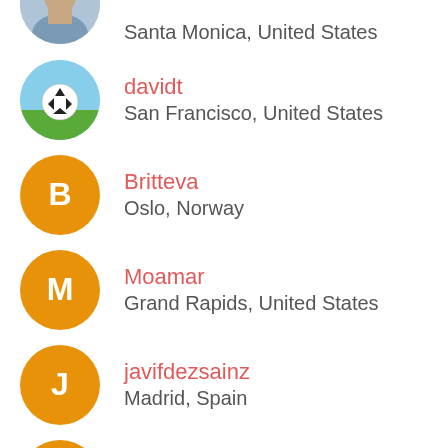Santa Monica, United States
davidt
San Francisco, United States
Britteva
Oslo, Norway
Moamar
Grand Rapids, United States
javifdezsainz
Madrid, Spain
jonaronningen
Trondheim, Norway